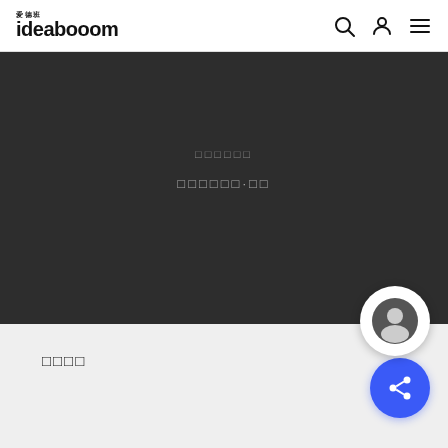ideabooom
[Figure (other): Dark hero banner with centered Chinese text lines and a circular user avatar button at bottom right]
□□□□□□
□□□□□□·□□
□□□□